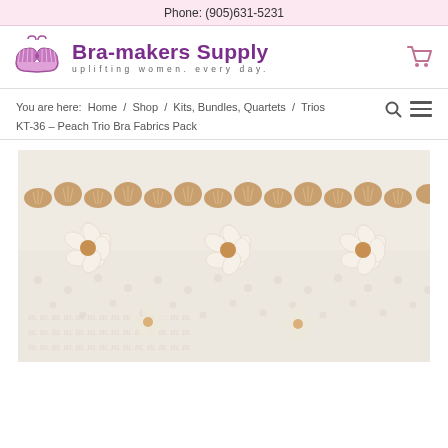Phone: (905)631-5231
[Figure (logo): Bra-makers Supply logo with bra illustration and tagline 'uplifting women. every day.']
You are here: Home / Shop / Kits, Bundles, Quartets / Trios KT-36 – Peach Trio Bra Fabrics Pack
[Figure (photo): Close-up photo of peach/cream colored lace fabric with floral embroidery pattern — the KT-36 Peach Trio Bra Fabrics Pack product image]